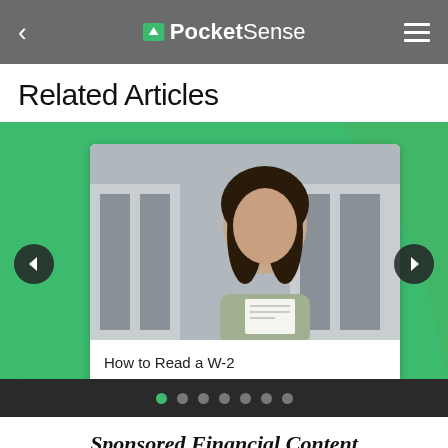PocketSense
Related Articles
[Figure (photo): Carousel showing article card 'How to Read a W-2' with a woman reading a document outside, on a green background with navigation arrows and dot indicators]
How to Read a W-2
Sponsored Financial Content
[Figure (photo): Partial photo of a blonde woman for sponsored financial content]